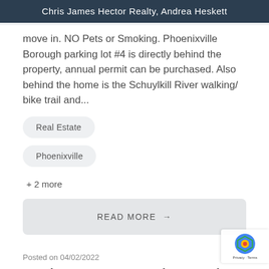Chris James Hector Realty, Andrea Heskett
move in. NO Pets or Smoking. Phoenixville Borough parking lot #4 is directly behind the property, annual permit can be purchased. Also behind the home is the Schuylkill River walking/ bike trail and...
Real Estate
Phoenixville
+ 2 more
READ MORE →
Posted on 04/02/2022
Another Property Rented - 358 Main Street #1, Phoenixville, PA 19460...